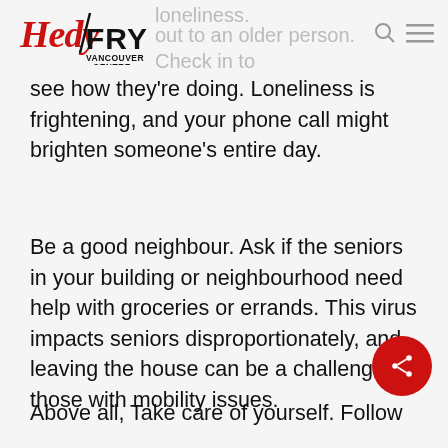Hedy Fry Vancouver Centre
loneliness.
out to an older person. Check in to see how they're doing. Loneliness is frightening, and your phone call might brighten someone's entire day.
Be a good neighbour. Ask if the seniors in your building or neighbourhood need help with groceries or errands. This virus impacts seniors disproportionately, and leaving the house can be a challenge for those with mobility issues.
Above all, Take care of yourself. Follow